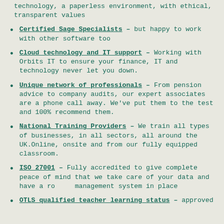technology, a paperless environment, with ethical, transparent values
Certified Sage Specialists – but happy to work with other software too
Cloud technology and IT support – Working with Orbits IT to ensure your finance, IT and technology never let you down.
Unique network of professionals – From pension advice to company audits, our expert associates are a phone call away. We've put them to the test and 100% recommend them.
National Training Providers – We train all types of businesses, in all sectors, all around the UK.Online, onsite and from our fully equipped classroom.
ISO 27001 – Fully accredited to give complete peace of mind that we take care of your data and have a robust management system in place
OTLS qualified teacher learning status – approved